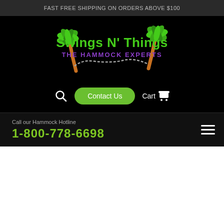FAST FREE SHIPPING ON ORDERS ABOVE $100
[Figure (logo): Swings N' Things - The Hammock Experts logo with two palm trees and a chain hammock between them. Text 'Swings N' Things' in green and purple, 'THE HAMMOCK EXPERTS' in purple below.]
Contact Us  Cart
Call our Hammock Hotline
1-800-778-6698